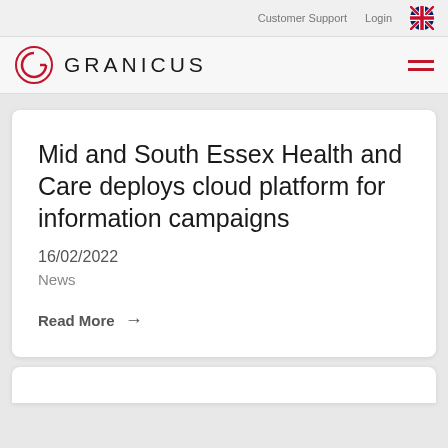Customer Support  Login
[Figure (logo): Granicus logo with circular G mark and GRANICUS wordmark]
Mid and South Essex Health and Care deploys cloud platform for information campaigns
16/02/2022
News
Read More →